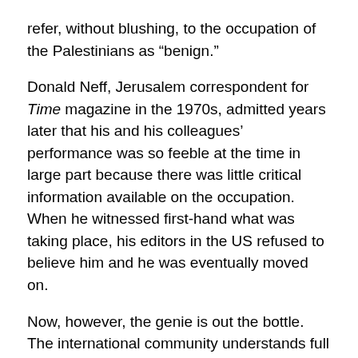refer, without blushing, to the occupation of the Palestinians as “benign.”
Donald Neff, Jerusalem correspondent for Time magazine in the 1970s, admitted years later that his and his colleagues’ performance was so feeble at the time in large part because there was little critical information available on the occupation. When he witnessed first-hand what was taking place, his editors in the US refused to believe him and he was eventually moved on.
Now, however, the genie is out the bottle. The international community understands full well – thanks to human rights activists – both that the occupation is brutal and that Israel has been peace-making in bad faith.
If Israel continues on its current course, another myth long